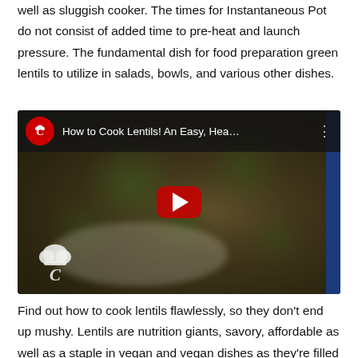well as sluggish cooker. The times for Instantaneous Pot do not consist of added time to pre-heat and launch pressure. The fundamental dish for food preparation green lentils to utilize in salads, bowls, and various other dishes.
[Figure (screenshot): YouTube video thumbnail showing 'How to Cook Lentils! An Easy, Hea...' with a play button overlay, showing a plate of cooked green lentils with herbs. A chef logo watermark appears in the bottom left.]
Find out how to cook lentils flawlessly, so they don't end up mushy. Lentils are nutrition giants, savory, affordable as well as a staple in vegan and vegan dishes as they're filled